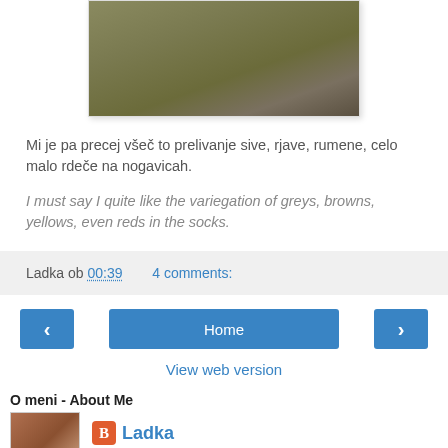[Figure (photo): Close-up photo of knitted socks showing variegated yarn in grey, brown, yellow, and red tones]
Mi je pa precej všeč to prelivanje sive, rjave, rumene, celo malo rdeče na nogavicah.
I must say I quite like the variegation of greys, browns, yellows, even reds in the socks.
Ladka ob 00:39    4 comments:
Home
View web version
O meni - About Me
Ladka